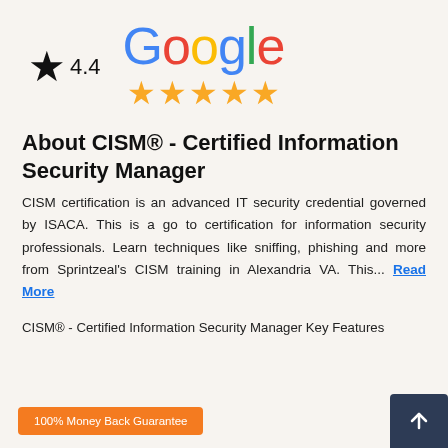[Figure (logo): Google logo with colored letters and 4.4 star rating with gold stars below]
About CISM® - Certified Information Security Manager
CISM certification is an advanced IT security credential governed by ISACA. This is a go to certification for information security professionals. Learn techniques like sniffing, phishing and more from Sprintzeal's CISM training in Alexandria VA. This... Read More
CISM® - Certified Information Security Manager Key Features
100% Money Back Guarantee